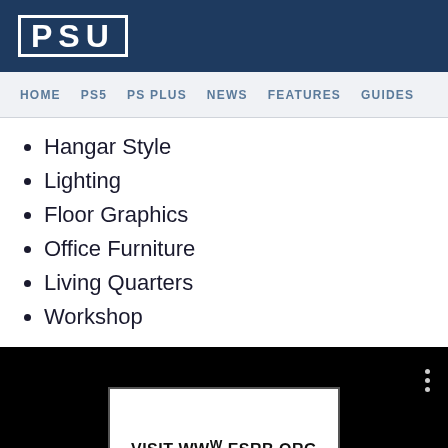[Figure (logo): PSU logo in white text with border on dark blue background]
HOME   PS5   PS PLUS   NEWS   FEATURES   GUIDES
Hangar Style
Lighting
Floor Graphics
Office Furniture
Living Quarters
Workshop
[Figure (screenshot): Video player with black background showing ESRB notice: VISIT WWW.ESRB.ORG FOR RATING INFORMATION, with previous and next navigation buttons]